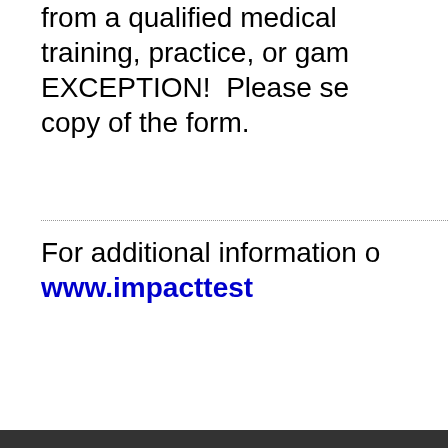from a qualified medical training, practice, or gam EXCEPTION!  Please se copy of the form.
For additional information o www.impacttest